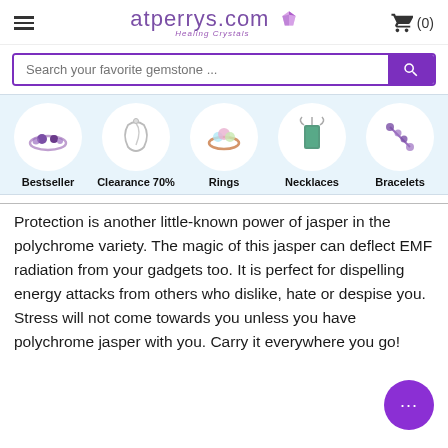atperrys.com Healing Crystals (0)
[Figure (screenshot): Search bar with purple search button and placeholder text 'Search your favorite gemstone ...']
[Figure (infographic): Category navigation strip with five circular product icons: Bestseller (amethyst ring), Clearance 70% (necklace), Rings (opal ring), Necklaces (mystic topaz pendant), Bracelets (chain bracelet)]
Protection is another little-known power of jasper in the polychrome variety. The magic of this jasper can deflect EMF radiation from your gadgets too. It is perfect for dispelling energy attacks from others who dislike, hate or despise you. Stress will not come towards you unless you have polychrome jasper with you. Carry it everywhere you go!